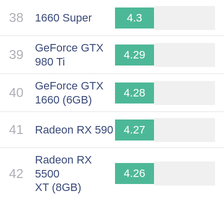38 1660 Super 4.3
39 GeForce GTX 980 Ti 4.29
40 GeForce GTX 1660 (6GB) 4.28
41 Radeon RX 590 4.27
42 Radeon RX 5500 XT (8GB) 4.26